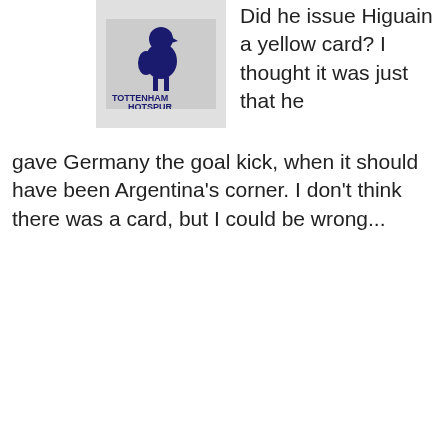[Figure (logo): Tottenham Hotspur logo on grey/white background]
Did he issue Higuain a yellow card? I thought it was just that he gave Germany the goal kick, when it should have been Argentina's corner. I don't think there was a card, but I could be wrong...
★ Like
Reply
swanpride
July 14, 2014 5:40 am
Advertisements
Content Analytics Made Easy
Get A Demo →
Parse.ly